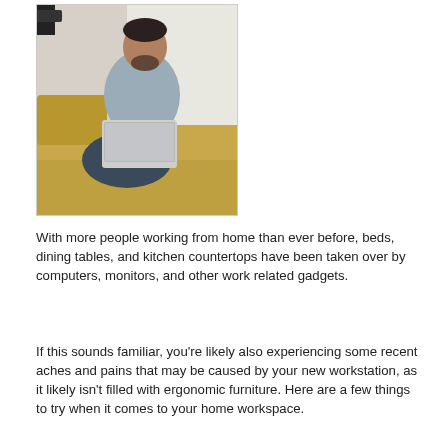[Figure (photo): A man with a beard sitting on a yellow/mustard couch working on a laptop computer, wearing a grey shirt and dark jeans. The background is a bright, modern interior space.]
With more people working from home than ever before, beds, dining tables, and kitchen countertops have been taken over by computers, monitors, and other work related gadgets.
If this sounds familiar, you're likely also experiencing some recent aches and pains that may be caused by your new workstation, as it likely isn't filled with ergonomic furniture. Here are a few things to try when it comes to your home workspace.